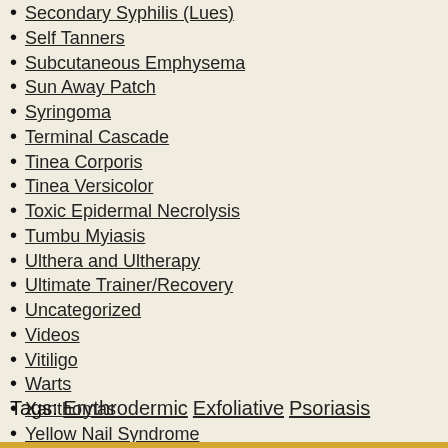Secondary Syphilis (Lues)
Self Tanners
Subcutaneous Emphysema
Sun Away Patch
Syringoma
Terminal Cascade
Tinea Corporis
Tinea Versicolor
Toxic Epidermal Necrolysis
Tumbu Myiasis
Ulthera and Ultherapy
Ultimate Trainer/Recovery
Uncategorized
Videos
Vitiligo
Warts
Xanthomas
Yellow Nail Syndrome
Zoster
Tags: Erythrodermic Exfoliative Psoriasis